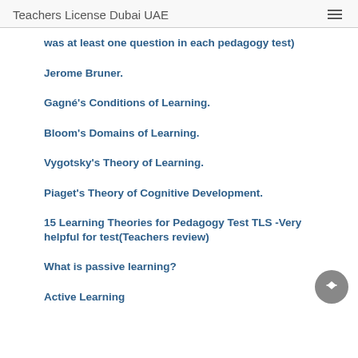Teachers License Dubai UAE
was at least one question in each pedagogy test)
Jerome Bruner.
Gagné's Conditions of Learning.
Bloom's Domains of Learning.
Vygotsky's Theory of Learning.
Piaget's Theory of Cognitive Development.
15 Learning Theories for Pedagogy Test TLS -Very helpful for test(Teachers review)
What is passive learning?
Active Learning